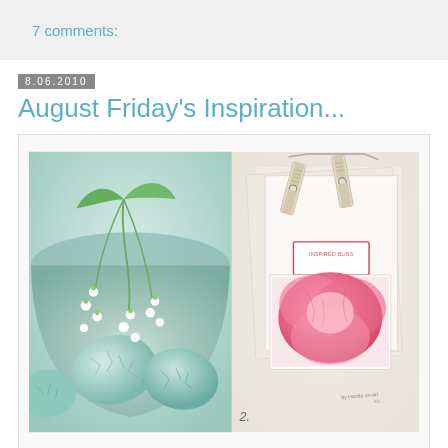7 comments:
8.06.2010
August Friday's Inspiration...
[Figure (photo): Left: Blue-green ceramic bowl with white lily of the valley flowers and teal crackled eggs. Right: Craft/stationery flatlay with decorative clothespins, layered cards, and a pink peony photo print. Number '2.' visible at bottom of right image.]